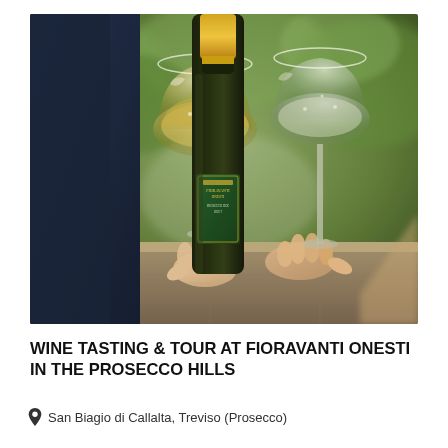[Figure (photo): Two people clinking wine glasses over a stone ledge, with a dark Prosecco bottle (Fioravanti Onesti label) in the center. Blurred green foliage in background.]
WINE TASTING & TOUR AT FIORAVANTI ONESTI IN THE PROSECCO HILLS
San Biagio di Callalta, Treviso (Prosecco)